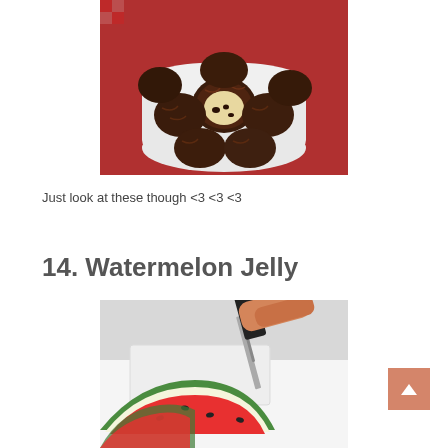[Figure (photo): A white bowl filled with dark chocolate truffle balls, one cut in half revealing a cookie dough filling with chocolate chips, on a red checkered cloth background]
Just look at these though <3 <3 <3
14. Watermelon Jelly
[Figure (photo): A hand holding a knife cutting into what appears to be a rectangular white block on a cutting board, with sliced watermelon visible in the foreground on a white surface]